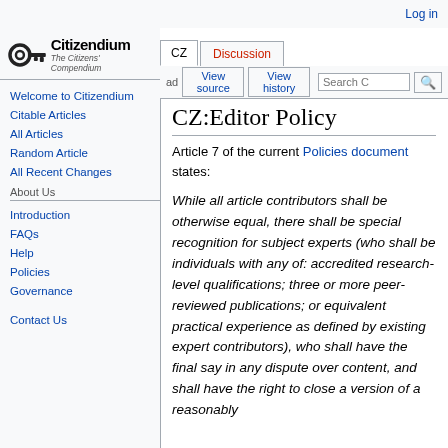Log in
[Figure (logo): Citizendium logo with key icon and text 'Citizendium — The Citizens' Compendium']
Welcome to Citizendium
Citable Articles
All Articles
Random Article
All Recent Changes
About Us
Introduction
FAQs
Help
Policies
Governance
Contact Us
CZ:Editor Policy
Article 7 of the current Policies document states:
While all article contributors shall be otherwise equal, there shall be special recognition for subject experts (who shall be individuals with any of: accredited research-level qualifications; three or more peer-reviewed publications; or equivalent practical experience as defined by existing expert contributors), who shall have the final say in any dispute over content, and shall have the right to close a version of a reasonably